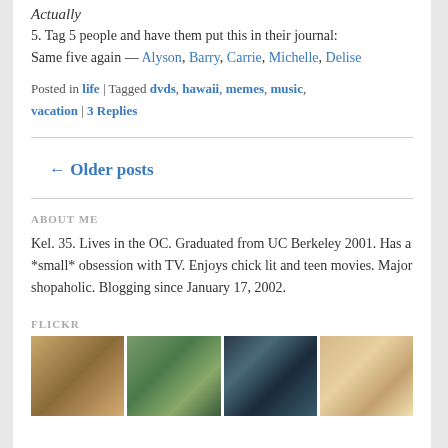Actually
5. Tag 5 people and have them put this in their journal:
Same five again — Alyson, Barry, Carrie, Michelle, Delise
Posted in life | Tagged dvds, hawaii, memes, music, vacation | 3 Replies
← Older posts
ABOUT ME
Kel. 35. Lives in the OC. Graduated from UC Berkeley 2001. Has a *small* obsession with TV. Enjoys chick lit and teen movies. Major shopaholic. Blogging since January 17, 2002.
FLICKR
[Figure (photo): Four Flickr photo thumbnails showing food and drink images]